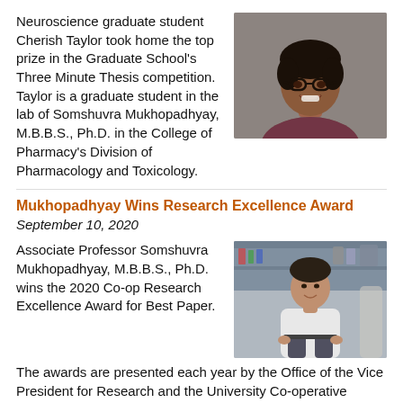Neuroscience graduate student Cherish Taylor took home the top prize in the Graduate School's Three Minute Thesis competition. Taylor is a graduate student in the lab of Somshuvra Mukhopadhyay, M.B.B.S., Ph.D. in the College of Pharmacy's Division of Pharmacology and Toxicology.
[Figure (photo): Headshot of Cherish Taylor, a smiling woman wearing glasses and a floral top, against a gray background.]
Mukhopadhyay Wins Research Excellence Award
September 10, 2020
Associate Professor Somshuvra Mukhopadhyay, M.B.B.S., Ph.D. wins the 2020 Co-op Research Excellence Award for Best Paper. The awards are presented each year by the Office of the Vice President for Research and the University Co-operative Society.
[Figure (photo): Photo of Somshuvra Mukhopadhyay standing in a laboratory setting, wearing a white button-down shirt and dark pants.]